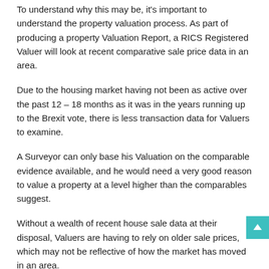To understand why this may be, it's important to understand the property valuation process. As part of producing a property Valuation Report, a RICS Registered Valuer will look at recent comparative sale price data in an area.
Due to the housing market having not been as active over the past 12 – 18 months as it was in the years running up to the Brexit vote, there is less transaction data for Valuers to examine.
A Surveyor can only base his Valuation on the comparable evidence available, and he would need a very good reason to value a property at a level higher than the comparables suggest.
Without a wealth of recent house sale data at their disposal, Valuers are having to rely on older sale prices, which may not be reflective of how the market has moved in an area.